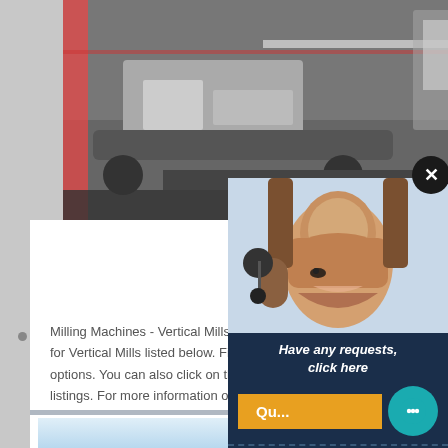[Figure (photo): Heavy construction/mining machinery (mobile crusher or similar) on a job site, white and red machine with tracks]
Vertical Mills for sale listings - Page 4 - MachineTo
Milling Machines - Vertical Mills for sale listings - We have listings for Vertical Mills listed below. Find items by using the options. You can also click on the column heading to listings. For more information on an item, contact the
[Figure (photo): Customer service representative with headset, overlaid chat/enquiry panel with email limingjlmofen@sina.com]
[Figure (photo): Light blue background image at bottom of page]